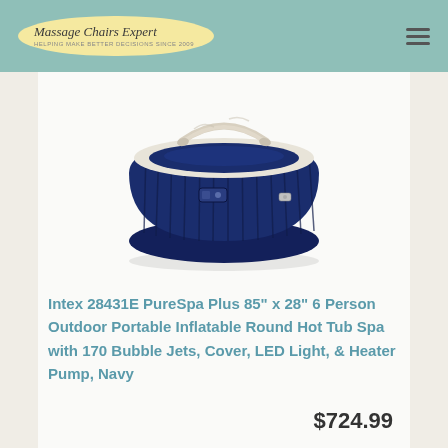Massage Chairs Expert
[Figure (photo): Navy blue inflatable round hot tub spa with white rope handles and ribbed exterior]
Intex 28431E PureSpa Plus 85" x 28" 6 Person Outdoor Portable Inflatable Round Hot Tub Spa with 170 Bubble Jets, Cover, LED Light, & Heater Pump, Navy
$724.99